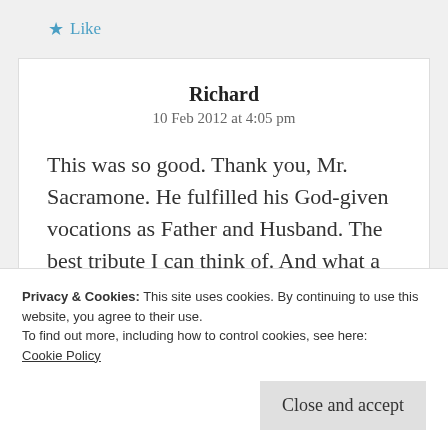★ Like
Richard
10 Feb 2012 at 4:05 pm
This was so good. Thank you, Mr. Sacramone. He fulfilled his God-given vocations as Father and Husband. The best tribute I can think of. And what a
Privacy & Cookies: This site uses cookies. By continuing to use this website, you agree to their use.
To find out more, including how to control cookies, see here:
Cookie Policy
Close and accept